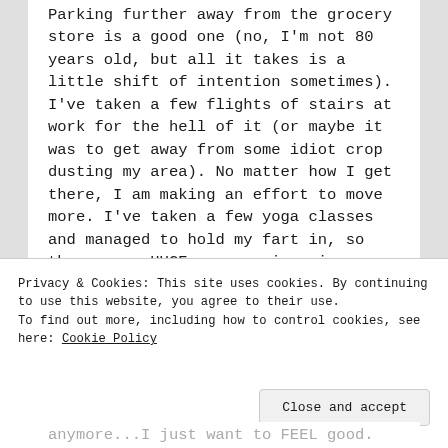Parking further away from the grocery store is a good one (no, I'm not 80 years old, but all it takes is a little shift of intention sometimes). I've taken a few flights of stairs at work for the hell of it (or maybe it was to get away from some idiot crop dusting my area). No matter how I get there, I am making an effort to move more. I've taken a few yoga classes and managed to hold my fart in, so those were HUGE encouraging wins. None of this is
Privacy & Cookies: This site uses cookies. By continuing to use this website, you agree to their use.
To find out more, including how to control cookies, see here: Cookie Policy
Close and accept
anymore...I just want to FEEL good.